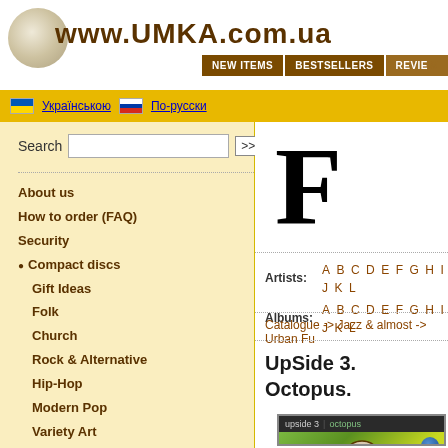www.UMKA.com.ua — NEW ITEMS | BESTSELLERS | REVIEWS
Українською | По-русски
Search >>
About us
How to order (FAQ)
Security
Compact discs
Gift Ideas
Folk
Church
Rock & Alternative
Hip-Hop
Modern Pop
Variety Art
Zabava
Jazz & almost
Electro-Acoustic Experiments
Classical
For Children
Other
Audio Books
MP3-CD
Artists: A B C D E F G H I J K L
Albums: A B C D E F G H I J K L
Catalogue -> Jazz & almost -> Urban Fu
UpSide 3. Octopus.
[Figure (photo): Album cover for UpSide 3 Octopus showing an artistic image on a green background with 'upside 3 | octopus' text bar at top]